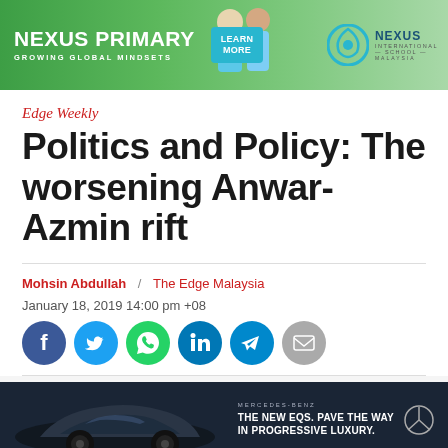[Figure (photo): Nexus Primary International School advertisement banner with green background, two children, LEARN MORE button, and Nexus International School Malaysia logo]
Edge Weekly
Politics and Policy: The worsening Anwar-Azmin rift
Mohsin Abdullah  /  The Edge Malaysia
January 18, 2019 14:00 pm +08
[Figure (infographic): Social media share icons: Facebook, Twitter, WhatsApp, LinkedIn, Telegram, Email]
[Figure (photo): Mercedes-Benz advertisement banner: THE NEW EQS. PAVE THE WAY IN PROGRESSIVE LUXURY.]